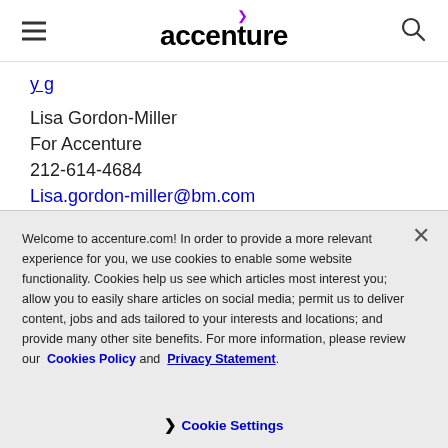accenture
Lisa Gordon-Miller
For Accenture
212-614-4684
Lisa.gordon-miller@bm.com
Alyna Wyatt
Enablis
+27 11 234 2526 (South Africa)
Welcome to accenture.com! In order to provide a more relevant experience for you, we use cookies to enable some website functionality. Cookies help us see which articles most interest you; allow you to easily share articles on social media; permit us to deliver content, jobs and ads tailored to your interests and locations; and provide many other site benefits. For more information, please review our Cookies Policy and Privacy Statement.
Cookie Settings